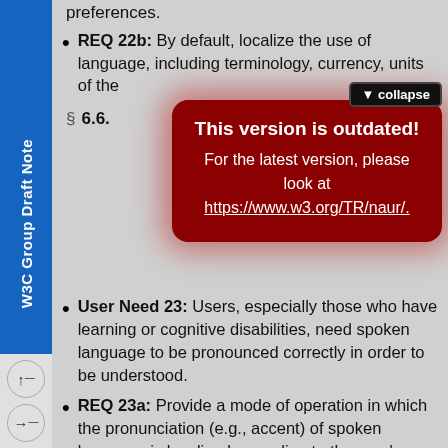W3C Group Draft Note
REQ 22b: By default, localize the use of language, including terminology, currency, units [...]
[Figure (screenshot): Outdated version warning overlay with collapse button, showing: 'This version is outdated! For the latest version, please look at https://www.w3.org/TR/naur/.']
§ 6.6.
User Need 23: Users, especially those who have learning or cognitive disabilities, need spoken language to be pronounced correctly in order to be understood.
REQ 23a: Provide a mode of operation in which the pronunciation (e.g., accent) of spoken language is localized according to the user's preferences.